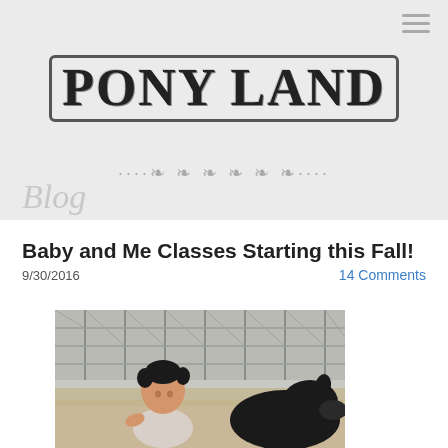PONY LAND
Blog
Baby and Me Classes Starting this Fall!
9/30/2016
14 Comments
[Figure (photo): A toddler girl with pigtails sitting near a black animal (likely a goat or pony) in a fenced farm/petting zoo setting on sandy ground]